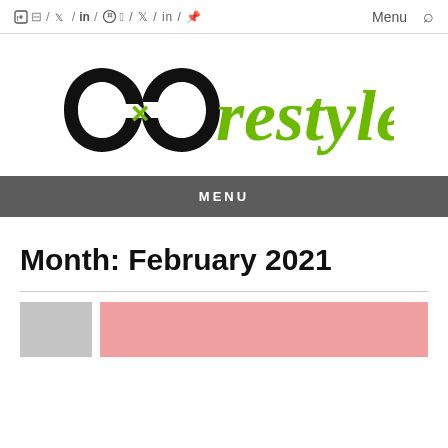f / t / in / p   Menu 🔍
[Figure (logo): CXCreStyle logo: two interlocked infinity-loop C shapes in black with a green X in the center, followed by 'restyle' in green script font]
MENU
Month: February 2021
[Figure (photo): Partial view of blog post thumbnails: a gray rectangle on the left and a pink/salmon-toned image of a person on the right]